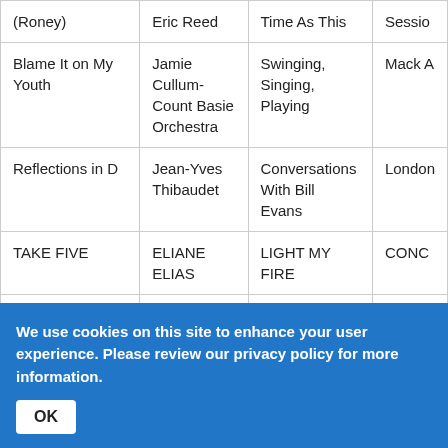| Song | Artist | Album | Label |
| --- | --- | --- | --- |
| (Roney) | Eric Reed | Time As This | Sessio… |
| Blame It on My Youth | Jamie Cullum-Count Basie Orchestra | Swinging, Singing, Playing | Mack A… |
| Reflections in D | Jean-Yves Thibaudet | Conversations With Bill Evans | London… |
| TAKE FIVE | ELIANE ELIAS | LIGHT MY FIRE | CONC… |
| The Lost Tune | Randy Napoleon | Various-Brothers, The Music of Gregg | Cold P… |
We use cookies on this site to enhance your user experience. Please review our privacy policy for more information.